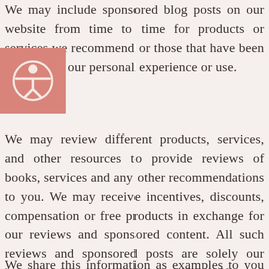We may include sponsored blog posts on our website from time to time for products or services we recommend or those that have been valuable in our personal experience or use.
[Figure (illustration): Accessibility icon — a circle with a person figure, white on salmon/pink background square]
We may review different products, services, and other resources to provide reviews of books, services and any other recommendations to you. We may receive incentives, discounts, compensation or free products in exchange for our reviews and sponsored content. All such reviews and sponsored posts are solely our honest opinions made in good faith. You are always encouraged to perform your own due diligence prior to relying on them.
We share this information as examples to you but it